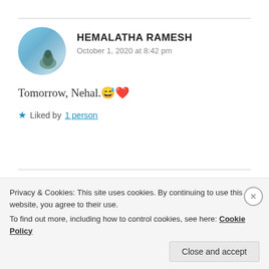HEMALATHA RAMESH
October 1, 2020 at 8:42 pm
Tomorrow, Nehal. 😅 ❤
★ Liked by 1 person
NEHAL WRITES
Privacy & Cookies: This site uses cookies. By continuing to use this website, you agree to their use.
To find out more, including how to control cookies, see here: Cookie Policy
Close and accept